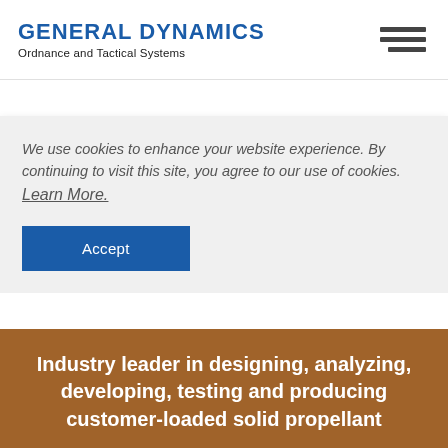GENERAL DYNAMICS Ordnance and Tactical Systems
We use cookies to enhance your website experience. By continuing to visit this site, you agree to our use of cookies. Learn More.
Accept
Industry leader in designing, analyzing, developing, testing and producing customer-loaded solid propellant